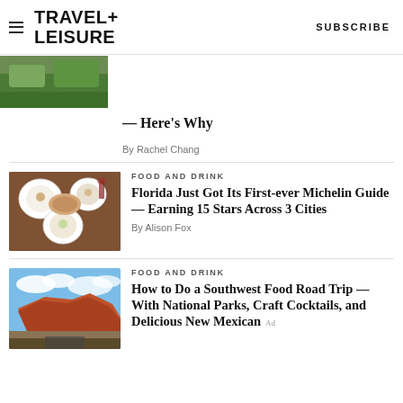TRAVEL+ LEISURE  SUBSCRIBE
[Figure (photo): Partial top of outdoor/nature image cropped at top]
— Here's Why
By Rachel Chang
[Figure (photo): Overhead view of white plates with food on a wooden table]
FOOD AND DRINK
Florida Just Got Its First-ever Michelin Guide — Earning 15 Stars Across 3 Cities
By Alison Fox
[Figure (photo): Red rock mesa landscape with blue sky and clouds]
FOOD AND DRINK
How to Do a Southwest Food Road Trip — With National Parks, Craft Cocktails, and Delicious New Mexican